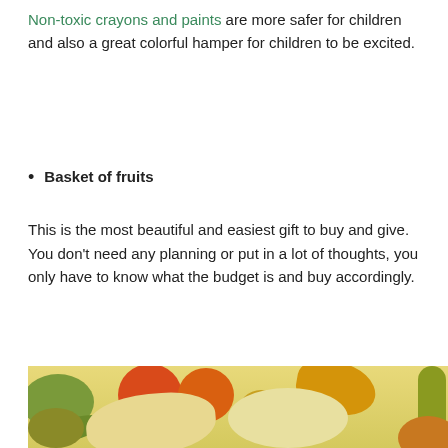Non-toxic crayons and paints are more safer for children and also a great colorful hamper for children to be excited.
Basket of fruits
This is the most beautiful and easiest gift to buy and give. You don't need any planning or put in a lot of thoughts, you only have to know what the budget is and buy accordingly.
[Figure (photo): A flat-lay photo of various fruits including tomatoes, mangoes, star fruit, kiwi, and green vegetables on a yellow background.]